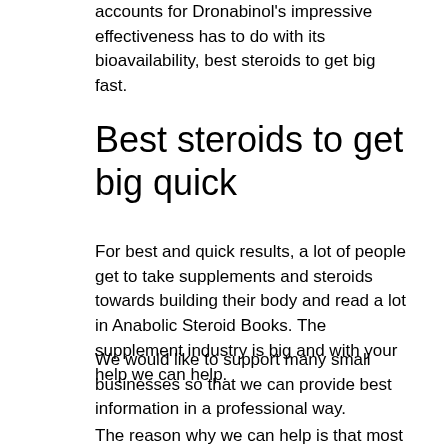accounts for Dronabinol's impressive effectiveness has to do with its bioavailability, best steroids to get big fast.
Best steroids to get big quick
For best and quick results, a lot of people get to take supplements and steroids towards building their body and read a lot in Anabolic Steroid Books. The supplement industry is big and with your help we can help.
We would like to support many small businesses so that we can provide best information in a professional way.
The reason why we can help is that most of the…